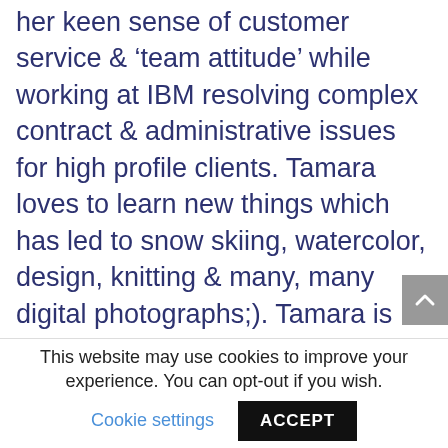her keen sense of customer service & 'team attitude' while working at IBM resolving complex contract & administrative issues for high profile clients. Tamara loves to learn new things which has led to snow skiing, watercolor, design, knitting & many, many digital photographs;). Tamara is excited about working with clients to help get their photos out of shoeboxes & phones & shared with with family & friends.

Kim has a degree in Advertising Design from Columbus College of Art & Design (CCAD).
This website may use cookies to improve your experience. You can opt-out if you wish. Cookie settings ACCEPT